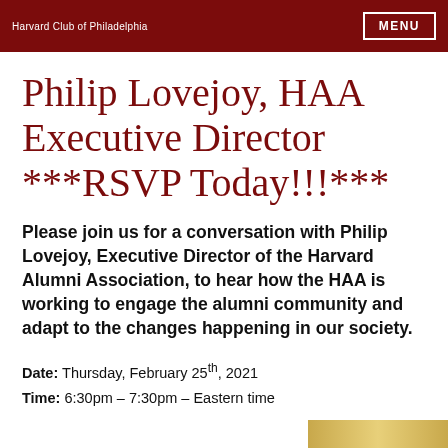Harvard Club of Philadelphia
Philip Lovejoy, HAA Executive Director ***RSVP Today!!!***
Please join us for a conversation with Philip Lovejoy, Executive Director of the Harvard Alumni Association, to hear how the HAA is working to engage the alumni community and adapt to the changes happening in our society.
Date: Thursday, February 25th, 2021
Time: 6:30pm – 7:30pm – Eastern time